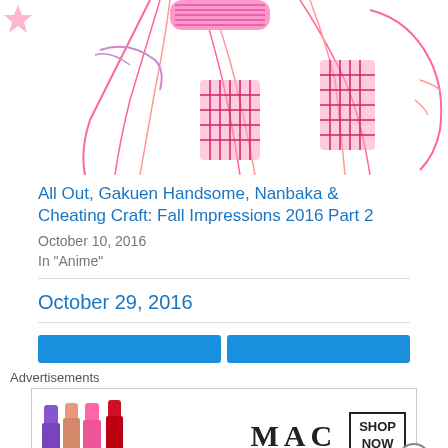[Figure (illustration): Partial view of anime-style illustration showing a pink/red line-art female figure with long hair, wearing a checkered/patterned outfit, cropped at the top of the page.]
All Out, Gakuen Handsome, Nanbaka & Cheating Craft: Fall Impressions 2016 Part 2
October 10, 2016
In "Anime"
October 29, 2016
[Figure (other): Two blue navigation buttons side by side]
Advertisements
[Figure (other): MAC Cosmetics advertisement banner showing colorful lipsticks (purple, peach, pink, red) alongside MAC logo and SHOP NOW button]